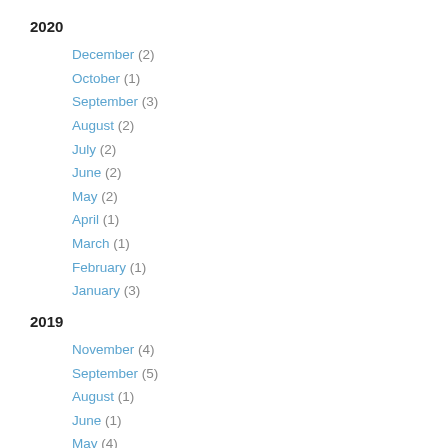2020
December (2)
October (1)
September (3)
August (2)
July (2)
June (2)
May (2)
April (1)
March (1)
February (1)
January (3)
2019
November (4)
September (5)
August (1)
June (1)
May (4)